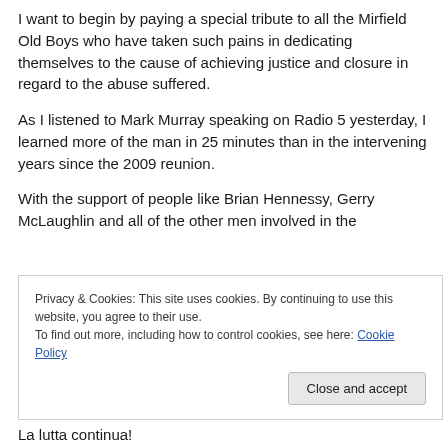I want to begin by paying a special tribute to all the Mirfield Old Boys who have taken such pains in dedicating themselves to the cause of achieving justice and closure in regard to the abuse suffered.
As I listened to Mark Murray speaking on Radio 5 yesterday, I learned more of the man in 25 minutes than in the intervening years since the 2009 reunion.
With the support of people like Brian Hennessy, Gerry McLaughlin and all of the other men involved in the
Privacy & Cookies: This site uses cookies. By continuing to use this website, you agree to their use.
To find out more, including how to control cookies, see here: Cookie Policy
La lutta continua!